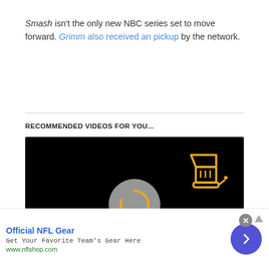Smash isn't the only new NBC series set to move forward. Grimm also received an pickup by the network.
RECOMMENDED VIDEOS FOR YOU...
[Figure (screenshot): Embedded video player with black background, a loading spinner in the center, a blender icon in the top right corner, and a 'PLAY SOUND' button in the lower left.]
Official NFL Gear
Get Your Favorite Team's Gear Here
www.nflshop.com